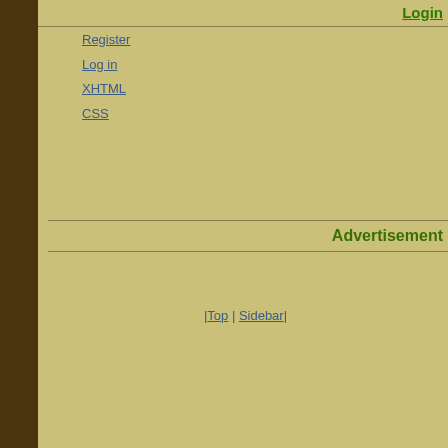Login
Register
Log in
XHTML
CSS
Advertisement
|Top | Sidebar|
[Figure (photo): Creature Replica advertisement showing a large green creature/monster figure with the text 'creaturereplica.com' and 'Check Us Out On' Facebook. Side panel shows various creature/monster heads. Navigation bar with INFORMATION | SIGHTINGS | VID tabs visible.]
[Figure (photo): Dark fantasy artwork showing a large hairy dark creature/monster with glowing eyes. Text reads 'the story behind th...' and 'LEGEND OF BOGGY CRE...']